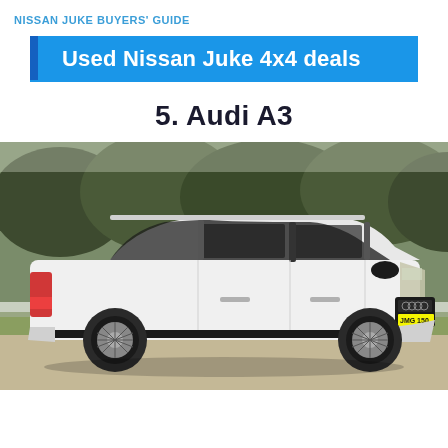NISSAN JUKE BUYERS' GUIDE
Used Nissan Juke 4x4 deals
5. Audi A3
[Figure (photo): White Audi A3 Sportback parked on gravel with trees in background, registration plate JMG 150]